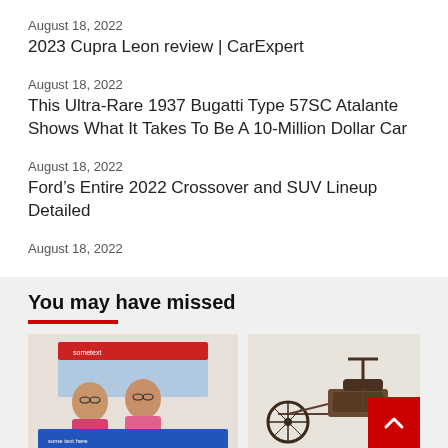August 18, 2022
2023 Cupra Leon review | CarExpert
August 18, 2022
This Ultra-Rare 1937 Bugatti Type 57SC Atalante Shows What It Takes To Be A 10-Million Dollar Car
August 18, 2022
Ford’s Entire 2022 Crossover and SUV Lineup Detailed
August 18, 2022
You may have missed
[Figure (photo): Two women smiling and holding a banner with text, in front of a sign that reads something with a logo. Office/event setting.]
[Figure (photo): A vintage three-wheeled motorized vehicle (early automobile/tricycle), dark metal, against a light background. A red scroll-to-top button is overlaid at bottom right.]